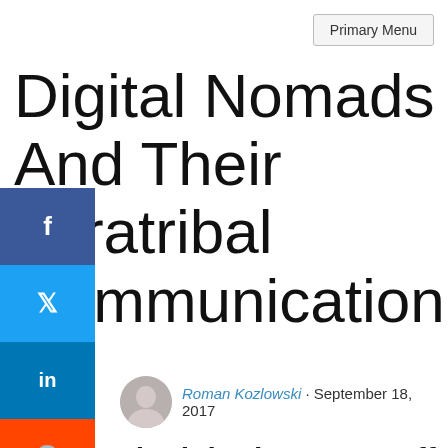Primary Menu
Digital Nomads And Their Intratribal Communication
Roman Kozlowski · September 18, 2017
It seems only right that I start off by admitting to writing this blog post on digital nomads from a coffee shop. Even though I'm not one myself, since I'm bound to a single city, I've become quite